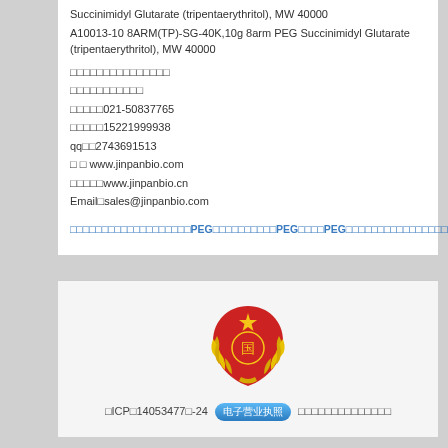Succinimidyl Glutarate (tripentaerythritol), MW 40000
A10013-10 8ARM(TP)-SG-40K,10g 8arm PEG Succinimidyl Glutarate (tripentaerythritol), MW 40000
□□□□□□□□□□□□□□□
□□□□□□□□□□□
□□□□□021-50837765
□□□□□15221999938
qq□□2743691513
□ □ www.jinpanbio.com
□□□□□www.jinpanbio.cn
Email□sales@jinpanbio.com
□□□□□□□□□□□□□□□□□□□PEG□□□□□□□□□□PEG□□□□PEG□□□□□□□□□□□□□□□□□□□
[Figure (logo): Chinese government emblem/seal - red shield with golden laurel wreath]
□ICP□14053477□-24 电子营业执照 □□□□□□□□□□□□□□